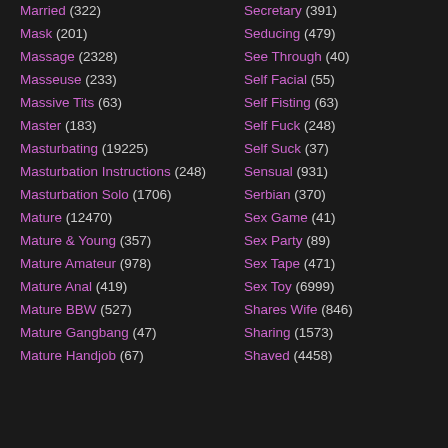Married (322)
Mask (201)
Massage (2328)
Masseuse (233)
Massive Tits (63)
Master (183)
Masturbating (19225)
Masturbation Instructions (248)
Masturbation Solo (1706)
Mature (12470)
Mature & Young (357)
Mature Amateur (978)
Mature Anal (419)
Mature BBW (527)
Mature Gangbang (47)
Mature Handjob (67)
Secretary (391)
Seducing (479)
See Through (40)
Self Facial (55)
Self Fisting (63)
Self Fuck (248)
Self Suck (37)
Sensual (931)
Serbian (370)
Sex Game (41)
Sex Party (89)
Sex Tape (471)
Sex Toy (6999)
Shares Wife (846)
Sharing (1573)
Shaved (4458)